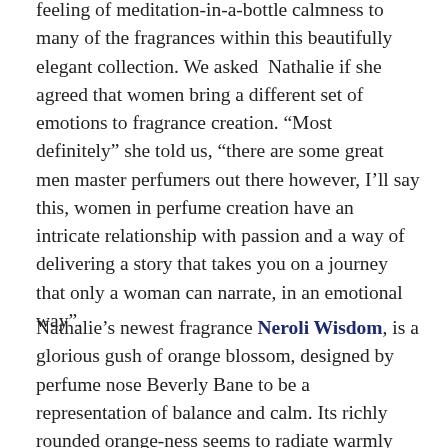feeling of meditation-in-a-bottle calmness to many of the fragrances within this beautifully elegant collection. We asked Nathalie if she agreed that women bring a different set of emotions to fragrance creation. “Most definitely” she told us, “there are some great men master perfumers out there however, I’ll say this, women in perfume creation have an intricate relationship with passion and a way of delivering a story that takes you on a journey that only a woman can narrate, in an emotional way”.
Nathalie’s newest fragrance Neroli Wisdom, is a glorious gush of orange blossom, designed by perfume nose Beverly Bane to be a representation of balance and calm. Its richly rounded orange-ness seems to radiate warmly from the centre of the